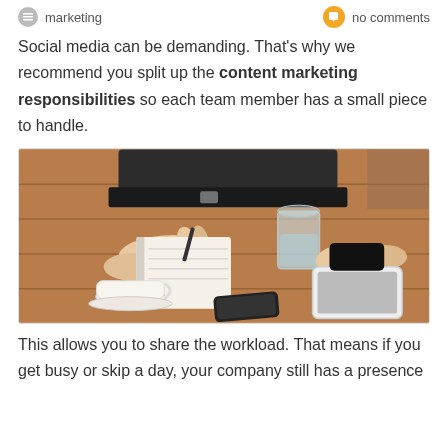marketing | no comments
Social media can be demanding. That's why we recommend you split up the content marketing responsibilities so each team member has a small piece to handle.
[Figure (photo): Two people at a wooden table with notebooks, a glass of water, a coffee cup, smartphones, and a tablet — a casual business/marketing meeting scene.]
This allows you to share the workload. That means if you get busy or skip a day, your company still has a presence